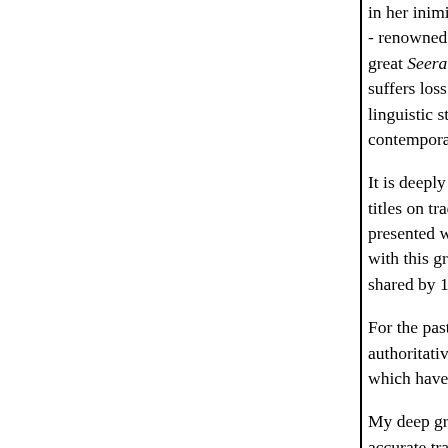in her inimitable style – which captivates t- renowned scholar and author, my mother great Seerah (biography) in her native Otto suffers loss when translated to English. Th linguistic styles and finer meanings of anci contemporary, English-speaking audience.
It is deeply hoped Muhammad (r): The Las titles on traditional Islam, and its much-dis presented with a view to answer many con with this great world religion in better und shared by 1.5 billion adherents, roughly on
For the past year our editorial team has wo authoritative work, replete with textual ref which have recently surfaced into the main
My deep gratitude goes to Ms. Radhia Shu accurate translation from the original Otto
The following women have taken great pai and have provided extensive editing to pre Hedieh Mirahmadi, Director of Internation Hajjah Talibah Jilani, National Executive D and Ms. Jennifer McLennan, Executive Di